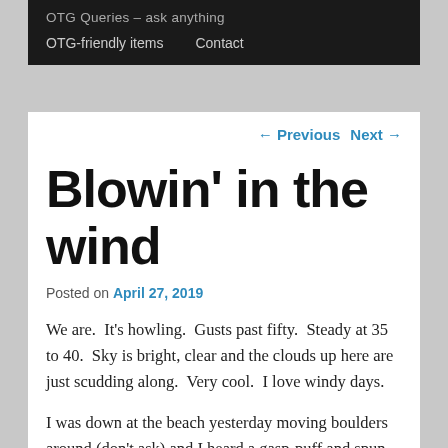OTG Queries – ask anything
OTG-friendly items   Contact
← Previous   Next →
Blowin' in the wind
Posted on April 27, 2019
We are.  It's howling.  Gusts past fifty.  Steady at 35 to 40.  Sky is bright, clear and the clouds up here are just scudding along.  Very cool.  I love windy days.
I was down at the beach yesterday moving boulders around (don't ask) and I heard a gasp-puff and spun around to see a big Humpback cruising by not thirty